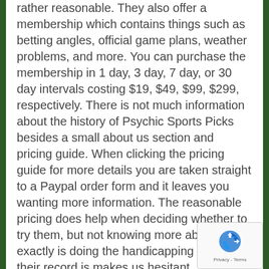rather reasonable. They also offer a membership which contains things such as betting angles, official game plans, weather problems, and more. You can purchase the membership in 1 day, 3 day, 7 day, or 30 day intervals costing $19, $49, $99, $299, respectively. There is not much information about the history of Psychic Sports Picks besides a small about us section and pricing guide. When clicking the pricing guide for more details you are taken straight to a Paypal order form and it leaves you wanting more information. The reasonable pricing does help when deciding whether to try them, but not knowing more about who exactly is doing the handicapping and what their record is makes us hesitant.
[Figure (other): reCAPTCHA badge with logo and Privacy - Terms text]